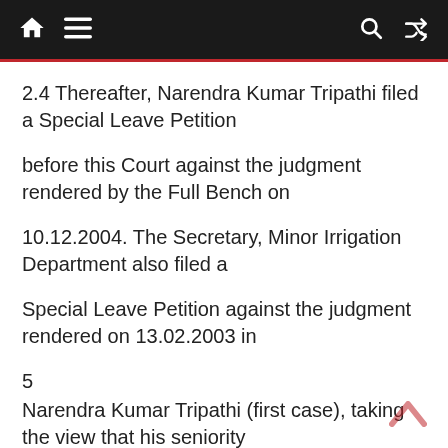Navigation bar with home, menu, search, and shuffle icons
2.4 Thereafter, Narendra Kumar Tripathi filed a Special Leave Petition
before this Court against the judgment rendered by the Full Bench on
10.12.2004. The Secretary, Minor Irrigation Department also filed a
Special Leave Petition against the judgment rendered on 13.02.2003 in
5
Narendra Kumar Tripathi (first case), taking the view that his seniority
shall be counted from the date of his initial